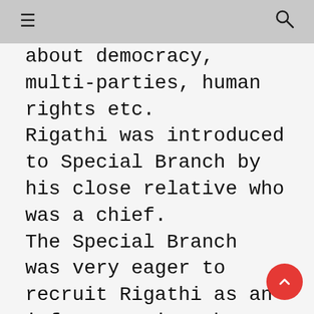≡  🔍
about democracy, multi-parties, human rights etc. Rigathi was introduced to Special Branch by his close relative who was a chief. The Special Branch was very eager to recruit Rigathi as an informer, since he